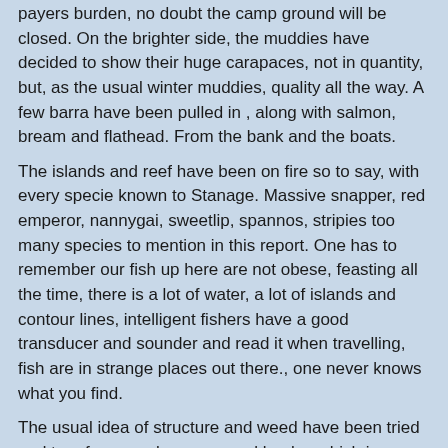payers burden,  no doubt the camp ground will be closed.  On the brighter side, the muddies have decided to show their huge carapaces, not in quantity, but,   as the usual winter muddies,  quality all the way.  A few barra have been pulled in , along with salmon, bream and flathead.    From the bank and the boats.
The islands and reef have been on fire so to say, with every specie known to Stanage.  Massive snapper, red emperor, nannygai, sweetlip, spannos, stripies too many species to mention in this report.  One has to remember our fish up here are not obese, feasting all the time, there is a lot of water, a  lot of islands and contour lines,  intelligent fishers  have a good transducer and sounder and  read it when travelling,  fish are in strange places out there., one never knows what you find.
The usual idea of structure and weed have been tried and true forever,  also are  gravel banks, which is near on flat.  Fish are in the shallows and the deep.  Just keep up with the P's , persistence, passion, patience it will pay off.  Never  be rude and ask anyone for a gps mark and you will remain friends or start a new friendship.  People are still out their asking strangers for marks, to get even one